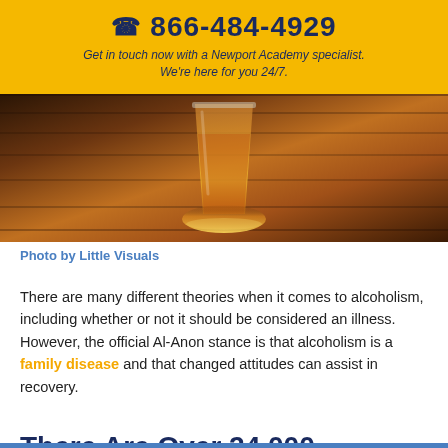📞 866-484-4929
Get in touch now with a Newport Academy specialist. We're here for you 24/7.
[Figure (photo): Close-up photo of a glass of amber whiskey/beer on a wooden table surface, warm tones]
Photo by Little Visuals
There are many different theories when it comes to alcoholism, including whether or not it should be considered an illness. However, the official Al-Anon stance is that alcoholism is a family disease and that changed attitudes can assist in recovery.
There Are Over 24,000 Al-Anon Groups